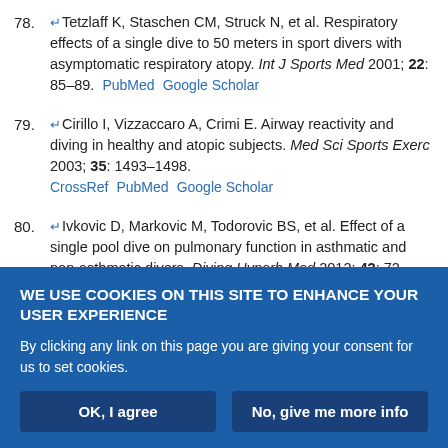78. Tetzlaff K, Staschen CM, Struck N, et al. Respiratory effects of a single dive to 50 meters in sport divers with asymptomatic respiratory atopy. Int J Sports Med 2001; 22: 85–89. PubMed Google Scholar
79. Cirillo I, Vizzaccaro A, Crimi E. Airway reactivity and diving in healthy and atopic subjects. Med Sci Sports Exerc 2003; 35: 1493–1498. CrossRef PubMed Google Scholar
80. Ivkovic D, Markovic M, Todorovic BS, et al. Effect of a single pool dive on pulmonary function in asthmatic and non-asthmatic divers. Diving Hyperb Med 2012; 42: 72–77. PubMed Google Scholar
81. Ong LM, Bennett MH, Thomas PS. Pulmonary dysanapsis and diving assessments. Undersea Hyperb Med 2009; 36: 375–380. PubMed
WE USE COOKIES ON THIS SITE TO ENHANCE YOUR USER EXPERIENCE
By clicking any link on this page you are giving your consent for us to set cookies.